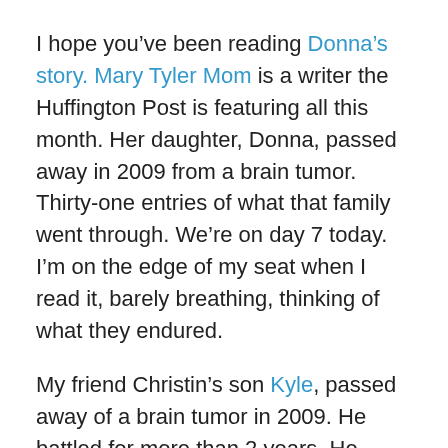I hope you've been reading Donna's story. Mary Tyler Mom is a writer the Huffington Post is featuring all this month. Her daughter, Donna, passed away in 2009 from a brain tumor. Thirty-one entries of what that family went through. We're on day 7 today. I'm on the edge of my seat when I read it, barely breathing, thinking of what they endured.
My friend Christin's son Kyle, passed away of a brain tumor in 2009. He battled for more than 2 years. He made it to his 8th birthday, and then slipped away soon after. Kyle defied all statistics. Most kids battling his kind of tumor only last a year, maybe 18 months. He lasted longer. Kyle was one of those kids you don't forget about. We honor him every year in the Run of Hope in Seattle through Children's Hospital. And we remember his